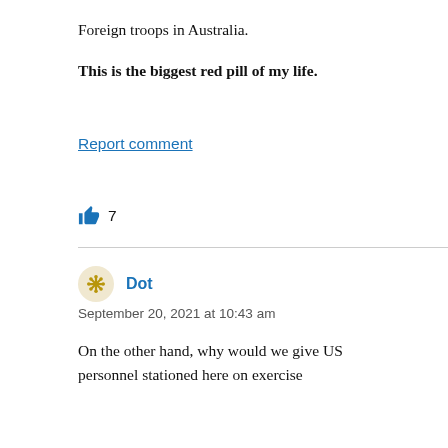Foreign troops in Australia.
This is the biggest red pill of my life.
Report comment
👍 7
Dot — September 20, 2021 at 10:43 am
On the other hand, why would we give US personnel stationed here on exercise